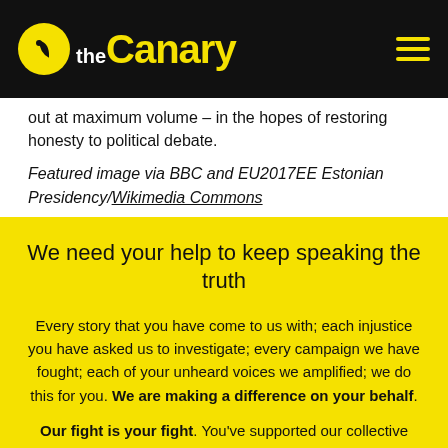the Canary
out at maximum volume – in the hopes of restoring honesty to political debate.
Featured image via BBC and EU2017EE Estonian Presidency/Wikimedia Commons
We need your help to keep speaking the truth
Every story that you have come to us with; each injustice you have asked us to investigate; every campaign we have fought; each of your unheard voices we amplified; we do this for you. We are making a difference on your behalf.
Our fight is your fight. You've supported our collective struggle every time you gave us a like;